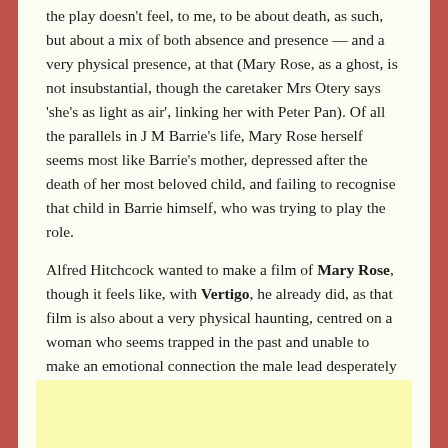the play doesn't feel, to me, to be about death, as such, but about a mix of both absence and presence — and a very physical presence, at that (Mary Rose, as a ghost, is not insubstantial, though the caretaker Mrs Otery says 'she's as light as air', linking her with Peter Pan). Of all the parallels in J M Barrie's life, Mary Rose herself seems most like Barrie's mother, depressed after the death of her most beloved child, and failing to recognise that child in Barrie himself, who was trying to play the role.
Alfred Hitchcock wanted to make a film of Mary Rose, though it feels like, with Vertigo, he already did, as that film is also about a very physical haunting, centred on a woman who seems trapped in the past and unable to make an emotional connection the male lead desperately needs. If any film captures Mary Rose's sense of sudden, utterly unexplainable loss, though, it has to be Picnic at Hanging Rock.
[Figure (other): Yellow rectangular box at the bottom of the page, partially visible]